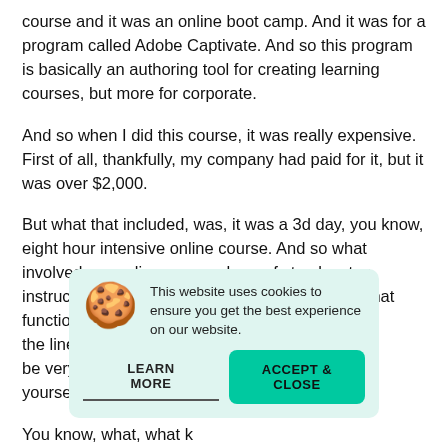course and it was an online boot camp. And it was for a program called Adobe Captivate. And so this program is basically an authoring tool for creating learning courses, but more for corporate.
And so when I did this course, it was really expensive. First of all, thankfully, my company had paid for it, but it was over $2,000.
But what that included, was, it was a 3d day, you know, eight hour intensive online course. And so what involved was a live screen share of step by step instructions with a workflow, and also included chat functionality for the students, there was pro... the line that I was able ... be very engaging, he w... yourself, why are you h...
You know, what, what k...
[Figure (other): Cookie consent popup with cookie monster emoji, text 'This website uses cookies to ensure you get the best experience on our website.', two buttons: 'LEARN MORE' and 'ACCEPT & CLOSE']